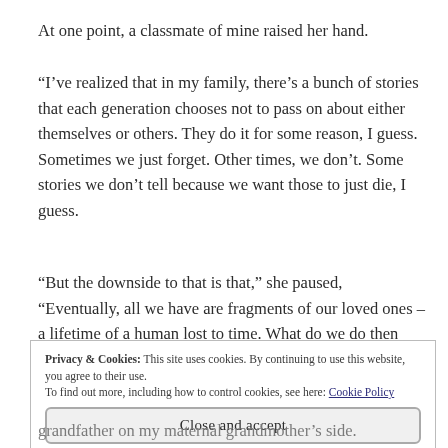At one point, a classmate of mine raised her hand.
“I’ve realized that in my family, there’s a bunch of stories that each generation chooses not to pass on about either themselves or others. They do it for some reason, I guess. Sometimes we just forget. Other times, we don’t. Some stories we don’t tell because we want those to just die, I guess.
“But the downside to that is that,” she paused, “Eventually, all we have are fragments of our loved ones – a lifetime of a human lost to time. What do we do then
Privacy & Cookies: This site uses cookies. By continuing to use this website, you agree to their use.
To find out more, including how to control cookies, see here: Cookie Policy
Close and accept
grandfather on my maternal grandmother’s side.